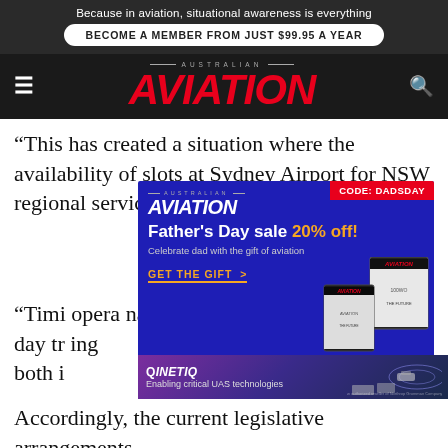Because in aviation, situational awareness is everything
BECOME A MEMBER FROM JUST $99.95 A YEAR
[Figure (logo): Australian Aviation magazine logo with red AVIATION text on dark background, with hamburger menu and search icons]
“This has created a situation where the availability of slots at Sydney Airport for NSW regional services in the m[orning and afternoon] [are] [extre]mely limite[d]
[Figure (infographic): Australian Aviation Father's Day sale advertisement popup. CODE: DADSDAY badge. Father's Day sale 20% off! Celebrate dad with the gift of aviation. GET THE GIFT >. Shows magazine covers on right side.]
“Timi[ng constraints] opera[tors] [to] [enable] day tr[avel and ret]urn [allow]ing both i[nbound and outbound passengers]
[Figure (infographic): QinetiQ advertisement: Enabling critical UAS technologies, showing drone/UAV technology with purple gradient background]
Accor[d]ingly, the current legislative arrangements